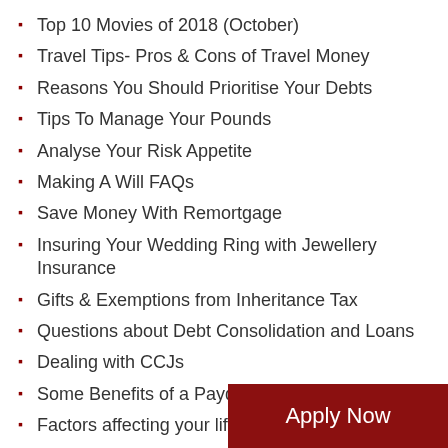Top 10 Movies of 2018 (October)
Travel Tips- Pros & Cons of Travel Money
Reasons You Should Prioritise Your Debts
Tips To Manage Your Pounds
Analyse Your Risk Appetite
Making A Will FAQs
Save Money With Remortgage
Insuring Your Wedding Ring with Jewellery Insurance
Gifts & Exemptions from Inheritance Tax
Questions about Debt Consolidation and Loans
Dealing with CCJs
Some Benefits of a Payday Loan
Factors affecting your life insurance premiums
Your Child's First Financial Steps
Need loans for any purpose but don't have guarantor?
Life Insurance for Mums
Obtaining a good car insurance rate with bad credit